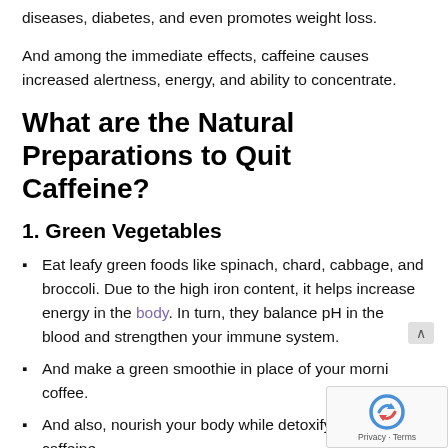diseases, diabetes, and even promotes weight loss.
And among the immediate effects, caffeine causes increased alertness, energy, and ability to concentrate.
What are the Natural Preparations to Quit Caffeine?
1. Green Vegetables
Eat leafy green foods like spinach, chard, cabbage, and broccoli. Due to the high iron content, it helps increase energy in the body. In turn, they balance pH in the blood and strengthen your immune system.
And make a green smoothie in place of your morni coffee.
And also, nourish your body while detoxifying it fro caffeine.